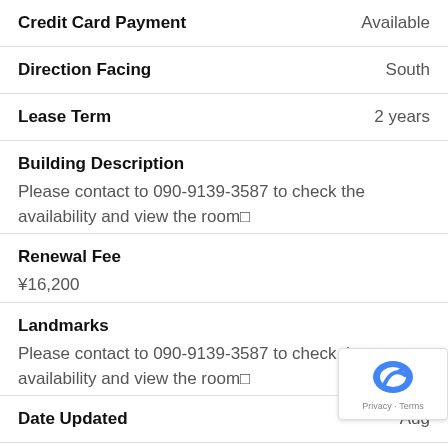| Credit Card Payment | Available |
| Direction Facing | South |
| Lease Term | 2 years |
Building Description
Please contact to 090-9139-3587 to check the availability and view the room□
Renewal Fee
¥16,200
Landmarks
Please contact to 090-9139-3587 to check the availability and view the room□
| Date Updated | Aug |
| Next Update Schedule | Aug 3□, □□□□ |